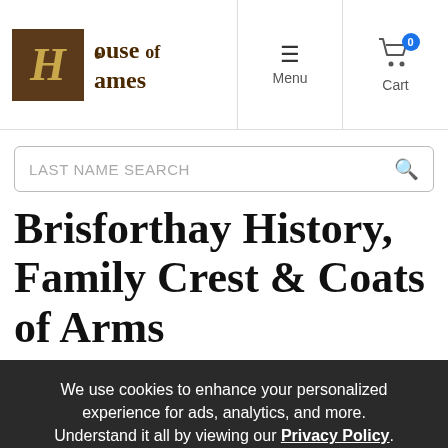House of Names — Menu | Cart 0
LAST NAME SEARCH
Brisforthay History, Family Crest & Coats of Arms
We use cookies to enhance your personalized experience for ads, analytics, and more. Understand it all by viewing our Privacy Policy.
Accept & Continue